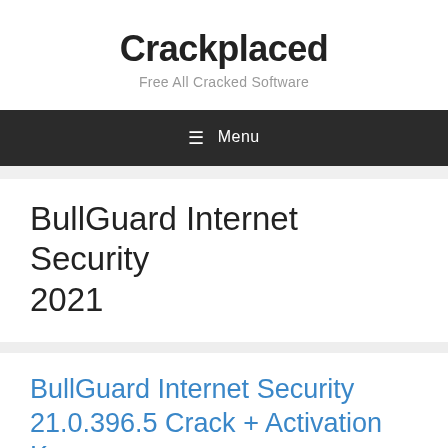Crackplaced
Free All Cracked Software
☰ Menu
BullGuard Internet Security 2021
BullGuard Internet Security 21.0.396.5 Crack + Activation Key